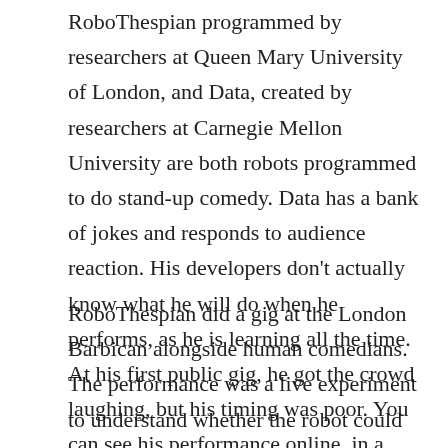RoboThespian programmed by researchers at Queen Mary University of London, and Data, created by researchers at Carnegie Mellon University are both robots programmed to do stand-up comedy. Data has a bank of jokes and responds to audience reaction. His developers don't actually know what he will do when he performs, as he is learning all the time. At his first public gig, he got the crowd laughing, but his timing was poor. You can see his performance online, in a TED Talk.
RoboThespian did a gig at the London Barbican alongside human comedians. The performance was a live experiment to understand whether the robot could 'work the audience' as well as a human comedian. They found that even relatively small